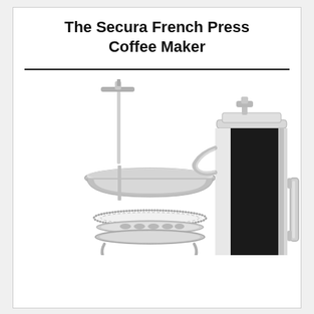The Secura French Press Coffee Maker
[Figure (photo): Product photo of the Secura French Press Coffee Maker showing the stainless steel double-wall French press carafe alongside the disassembled plunger and filter components (mesh filter, cross plate, spiral plate). The carafe is black and silver with a lid and handle attachment.]